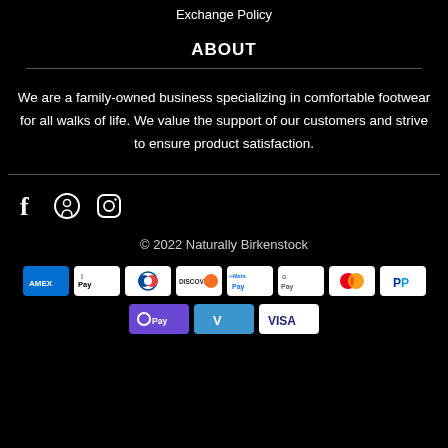Exchange Policy
ABOUT
We are a family-owned business specializing in comfortable footwear for all walks of life. We value the support of our customers and strive to ensure product satisfaction.
[Figure (infographic): Social media icons: Facebook (f), Pinterest, Instagram]
© 2022 Naturally Birkenstock
[Figure (infographic): Payment method icons: AMEX, Apple Pay, Diners Club, Discover, Meta Pay, Google Pay, Mastercard, PayPal, OPay, Venmo, VISA]